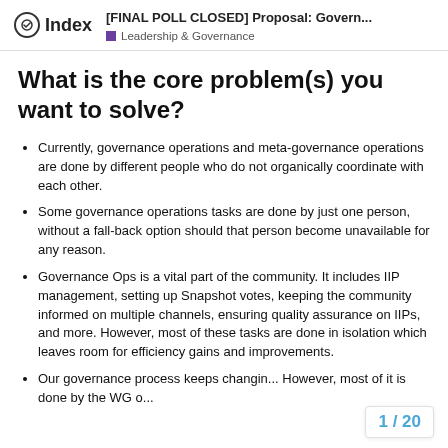[FINAL POLL CLOSED] Proposal: Govern... | Index | Leadership & Governance
What is the core problem(s) you want to solve?
Currently, governance operations and meta-governance operations are done by different people who do not organically coordinate with each other.
Some governance operations tasks are done by just one person, without a fall-back option should that person become unavailable for any reason.
Governance Ops is a vital part of the community. It includes IIP management, setting up Snapshot votes, keeping the community informed on multiple channels, ensuring quality assurance on IIPs, and more. However, most of these tasks are done in isolation which leaves room for efficiency gains and improvements.
Our governance process keeps changin... However, most of it is done by the WG o...
1 / 20